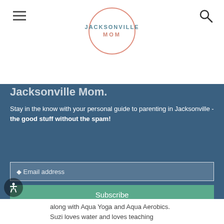JACKSONVILLE MOM
Jacksonville Mom.
Stay in the know with your personal guide to parenting in Jacksonville - the good stuff without the spam!
Email address
Subscribe
along with Aqua Yoga and Aqua Aerobics. Suzi loves water and loves teaching